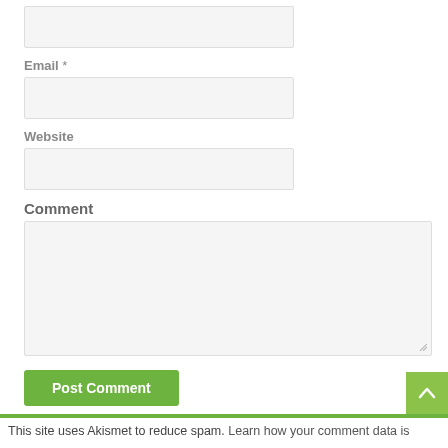Email *
[Figure (screenshot): Empty email input text field with light gray background and border]
Website
[Figure (screenshot): Empty website input text field with light gray background and border]
Comment
[Figure (screenshot): Empty comment textarea with light gray background, border, and resize handle at bottom right]
Post Comment
This site uses Akismet to reduce spam. Learn how your comment data is